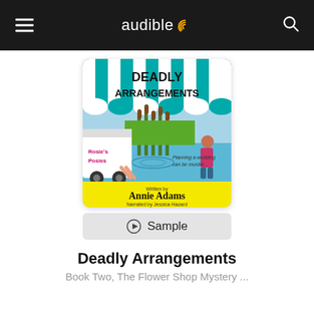audible
[Figure (illustration): Book cover for 'Deadly Arrangements' by Annie Adams, narrated by Jessica Hazard. Features a teal and white striped awning, cattails in a pond, a white van labeled 'Rosie's Posies', a woman's legs sticking out of the van, and a woman in pink standing nearby. Yellow bottom banner with author and narrator names. Tagline: 'Planning a wedding can be murder...']
Sample
Deadly Arrangements
Book Two, The Flower Shop Mystery ...